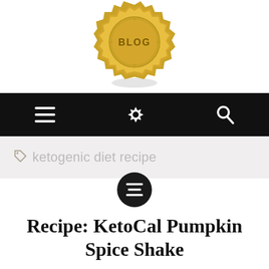[Figure (logo): Gold badge/seal with 'BLOG' text, partially visible at top of page with shadow beneath]
[Figure (screenshot): Black navigation bar with three icons: hamburger menu (three lines), settings gear, and search magnifying glass]
ketogenic diet recipe
[Figure (other): Dark circular button with align-left icon, overlapping the bottom of the tag bar]
Recipe: KetoCal Pumpkin Spice Shake
OCTOBER 16, 2014
KETOCAL
4 COMMENTS